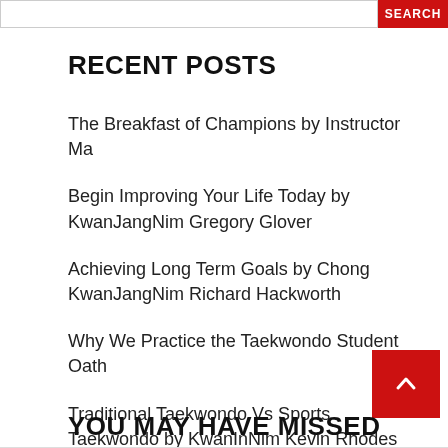SEARCH
RECENT POSTS
The Breakfast of Champions by Instructor Ma
Begin Improving Your Life Today by KwanJangNim Gregory Glover
Achieving Long Term Goals by Chong KwanJangNim Richard Hackworth
Why We Practice the Taekwondo Student Oath
Traditional Taekwondo Vs Sports Taekwondo by KwanInNim Kevin Rhodes
YOU MAY HAVE MISSED